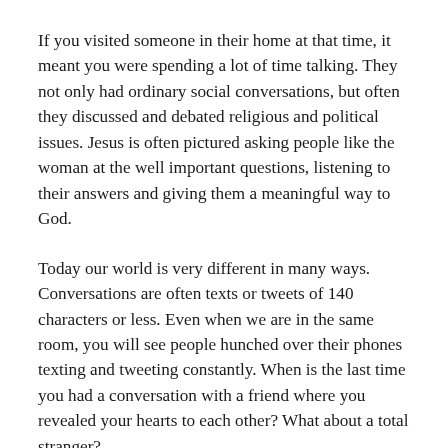If you visited someone in their home at that time, it meant you were spending a lot of time talking. They not only had ordinary social conversations, but often they discussed and debated religious and political issues. Jesus is often pictured asking people like the woman at the well important questions, listening to their answers and giving them a meaningful way to God.
Today our world is very different in many ways. Conversations are often texts or tweets of 140 characters or less. Even when we are in the same room, you will see people hunched over their phones texting and tweeting constantly. When is the last time you had a conversation with a friend where you revealed your hearts to each other? What about a total stranger?